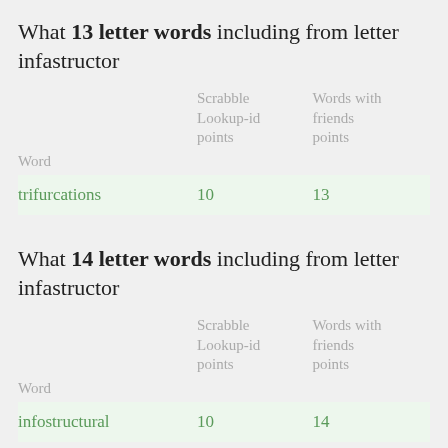What 13 letter words including from letter infastructor
| Word | Scrabble Lookup-id points | Words with friends points |
| --- | --- | --- |
| trifurcations | 10 | 13 |
What 14 letter words including from letter infastructor
| Word | Scrabble Lookup-id points | Words with friends points |
| --- | --- | --- |
| infostructural | 10 | 14 |